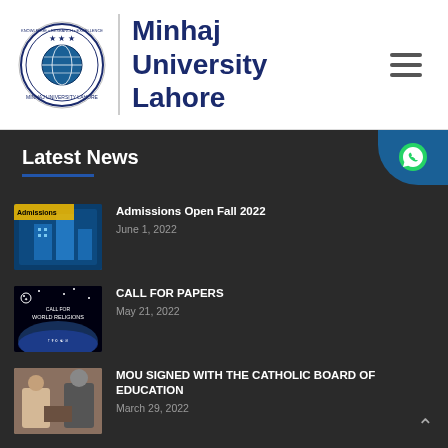Minhaj University Lahore
Latest News
[Figure (photo): Thumbnail for Admissions Open Fall 2022 news article]
Admissions Open Fall 2022
June 1, 2022
[Figure (photo): Thumbnail for Call For Papers – World Religions news article]
CALL FOR PAPERS
May 21, 2022
[Figure (photo): Thumbnail for MOU Signed with the Catholic Board of Education news article]
MOU SIGNED WITH THE CATHOLIC BOARD OF EDUCATION
March 29, 2022
[Figure (photo): Thumbnail for Annual Alumni Homecoming 2022 news article]
ANNUAL ALUMNI HOMECOMING 2022
March 24, 2022